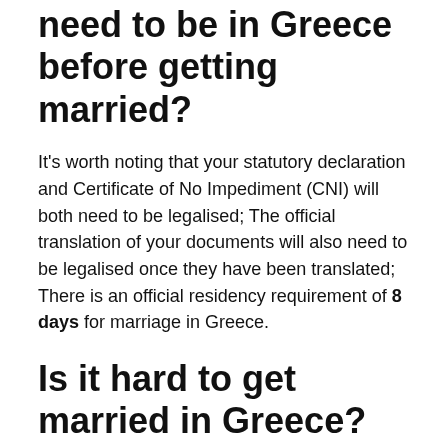need to be in Greece before getting married?
It’s worth noting that your statutory declaration and Certificate of No Impediment (CNI) will both need to be legalised; The official translation of your documents will also need to be legalised once they have been translated; There is an official residency requirement of 8 days for marriage in Greece.
Is it hard to get married in Greece?
You need not reside in Greece to marry in Greece, but the bureaucratic process to obtain a marriage certificate can take